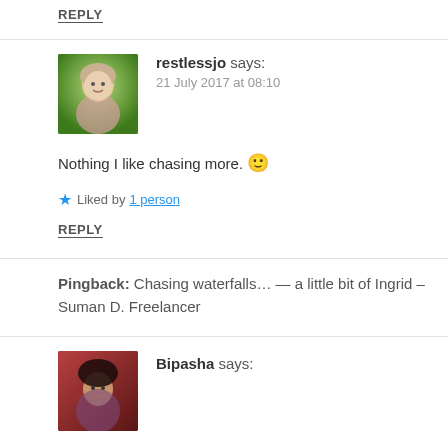REPLY
[Figure (photo): Avatar photo of restlessjo, an older woman with white hair outdoors among green foliage]
restlessjo says:
21 July 2017 at 08:10
Nothing I like chasing more. 🙂
Liked by 1 person
REPLY
Pingback: Chasing waterfalls… — a little bit of Ingrid – Suman D. Freelancer
[Figure (photo): Avatar photo of Bipasha, a young woman with dark hair]
Bipasha says: